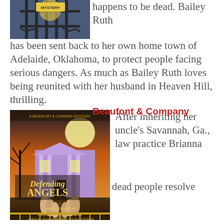[Figure (photo): Book cover image at top - decorative iron gate with mystery label]
happens to be dead. Bailey Ruth has been sent back to her own home town of Adelaide, Oklahoma, to protect people facing serious dangers. As much as Bailey Ruth loves being reunited with her husband in Heaven Hill, thrilling.
[Figure (photo): Book cover for 'Defending Angels' by Mary Stanton - A Beaufort & Company Mystery, showing a southern mansion at night with stone angel statues along a path]
Beaufont & Company
After inheriting her uncle's Savannah, Ga., law practice Brianna Winston Beaufort helps dead people resolve mysteries.